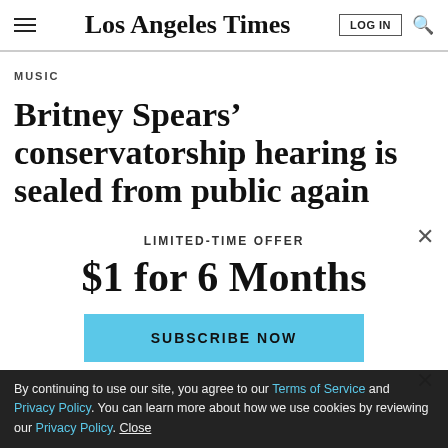Los Angeles Times
MUSIC
Britney Spears' conservatorship hearing is sealed from public again
LIMITED-TIME OFFER
$1 for 6 Months
SUBSCRIBE NOW
By continuing to use our site, you agree to our Terms of Service and Privacy Policy. You can learn more about how we use cookies by reviewing our Privacy Policy. Close